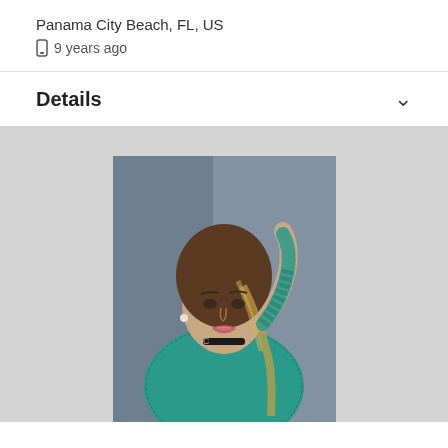Panama City Beach, FL, US
📱 9 years ago
Details
[Figure (photo): Professional portrait photo of a young woman with long highlighted brown hair, wearing a teal/turquoise lace top and black choker necklace, with one arm raised behind her head, posing against a blurred blue/grey background.]